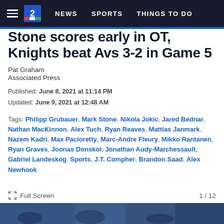NEWS | SPORTS | THINGS TO DO
Stone scores early in OT, Knights beat Avs 3-2 in Game 5
Pat Graham
Associated Press
Published: June 8, 2021 at 11:14 PM
Updated: June 9, 2021 at 12:48 AM
Tags: Philipp Grubauer, Mark Stone, Nikola Jokic, Jared Bednar, Nathan MacKinnon, Alex Tuch, Ryan Reaves, Mattias Janmark, Nazem Kadri, Max Pacioretty, Marc-Andre Fleury, Mikko Rantanen, Ryan Graves, Joonas Donskoi, Jonathan Audy-Marchessault, Gabriel Landeskog, Sports, J.T. Compher, Brandon Saad, Alex Newhook
[Figure (screenshot): Bottom image strip showing hockey game photo]